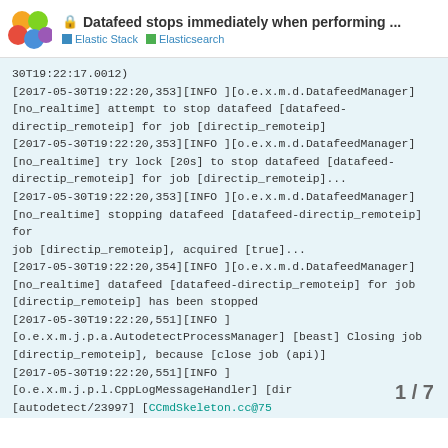Datafeed stops immediately when performing ... | Elastic Stack | Elasticsearch
30T19:22:17.0012)
[2017-05-30T19:22:20,353][INFO ][o.e.x.m.d.DatafeedManager] [no_realtime] attempt to stop datafeed [datafeed-directip_remoteip] for job [directip_remoteip]
[2017-05-30T19:22:20,353][INFO ][o.e.x.m.d.DatafeedManager] [no_realtime] try lock [20s] to stop datafeed [datafeed-directip_remoteip] for job [directip_remoteip]...
[2017-05-30T19:22:20,353][INFO ][o.e.x.m.d.DatafeedManager] [no_realtime] stopping datafeed [datafeed-directip_remoteip] for job [directip_remoteip], acquired [true]...
[2017-05-30T19:22:20,354][INFO ][o.e.x.m.d.DatafeedManager] [no_realtime] datafeed [datafeed-directip_remoteip] for job [directip_remoteip] has been stopped
[2017-05-30T19:22:20,551][INFO ] [o.e.x.m.j.p.a.AutodetectProcessManager] [beast] Closing job [directip_remoteip], because [close job (api)]
[2017-05-30T19:22:20,551][INFO ] [o.e.x.m.j.p.l.CppLogMessageHandler] [dir [autodetect/23997] [CCmdSkeleton.cc@75
1 / 7